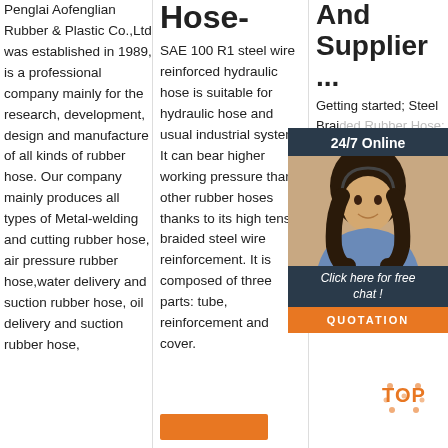Penglai Aofenglian Rubber & Plastic Co.,Ltd was established in 1989, is a professional company mainly for the research, development, design and manufacture of all kinds of rubber hose. Our company mainly produces all types of Metal-welding and cutting rubber hose, air pressure rubber hose,water delivery and suction rubber hose, oil delivery and suction rubber hose,
Hose-
SAE 100 R1 steel wire reinforced hydraulic hose is suitable for hydraulic hose and usual industrial systems. It can bear higher working pressure than other rubber hoses thanks to its high tensile braided steel wire reinforcement. It is composed of three parts: tube, reinforcement and cover.
And Supplier ...
Getting started; Steel Braided Rubber Hose; Steel Braided Rubber Hose Manufacturers, Factory, Best Quality, we will provide our customers with efficient and professional services for Steel Braided Rubber Hose, Welding Rubber Hose, Rubber Oil Hose, Hydraulic
[Figure (photo): Customer service chat widget with a woman wearing a headset, dark background, '24/7 Online' header, 'Click here for free chat!' text, and orange QUOTATION button]
[Figure (logo): TOP badge/logo in orange with decorative dots]